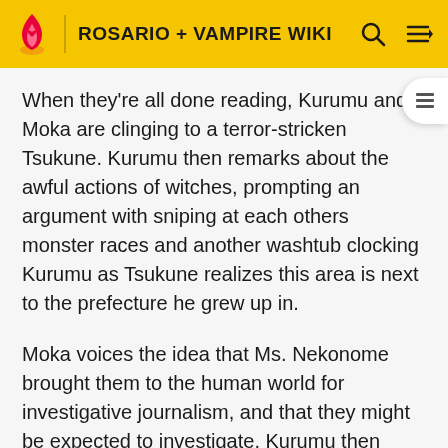ROSARIO + VAMPIRE WIKI
When they're all done reading, Kurumu and Moka are clinging to a terror-stricken Tsukune. Kurumu then remarks about the awful actions of witches, prompting an argument with sniping at each others monster races and another washtub clocking Kurumu as Tsukune realizes this area is next to the prefecture he grew up in.
Moka voices the idea that Ms. Nekonome brought them to the human world for investigative journalism, and that they might be expected to investigate. Kurumu then theorizes that they're being tested and that they should surpise her by solving the mystery. Following a nervous look from Tsukune, Yukari shouts the inquiry "Are you trying to get us all killed?!" After Kurumu says Yukari's